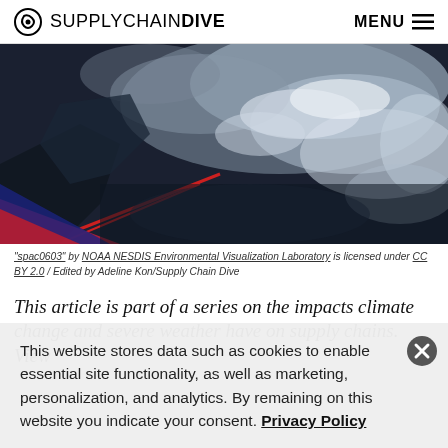SUPPLY CHAIN DIVE   MENU
[Figure (photo): Satellite image of clouds and ocean/land from NOAA, with a red diagonal element overlay at bottom-left]
"spac0603" by NOAA NESDIS Environmental Visualization Laboratory is licensed under CC BY 2.0 / Edited by Adeline Kon/Supply Chain Dive
This article is part of a series on the impacts climate change and severe weather have on supply chains. View
This website stores data such as cookies to enable essential site functionality, as well as marketing, personalization, and analytics. By remaining on this website you indicate your consent. Privacy Policy